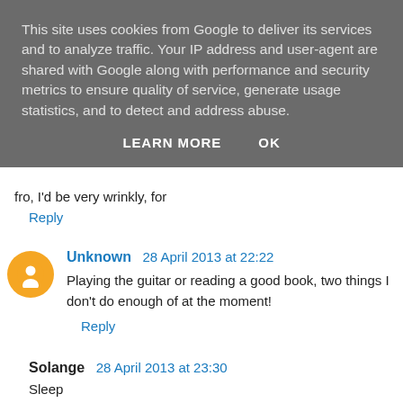This site uses cookies from Google to deliver its services and to analyze traffic. Your IP address and user-agent are shared with Google along with performance and security metrics to ensure quality of service, generate usage statistics, and to detect and address abuse.
LEARN MORE   OK
fro, I'd be very wrinkly, for
Reply
Unknown  28 April 2013 at 22:22
Playing the guitar or reading a good book, two things I don't do enough of at the moment!
Reply
Solange  28 April 2013 at 23:30
Sleep
Reply